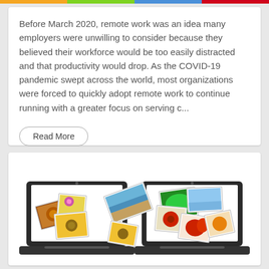Before March 2020, remote work was an idea many employers were unwilling to consider because they believed their workforce would be too easily distracted and that productivity would drop. As the COVID-19 pandemic swept across the world, most organizations were forced to quickly adopt remote work to continue running with a greater focus on serving c...
Read More
[Figure (illustration): Two laptops facing each other with photos/images flying between them, representing file sharing or remote collaboration.]